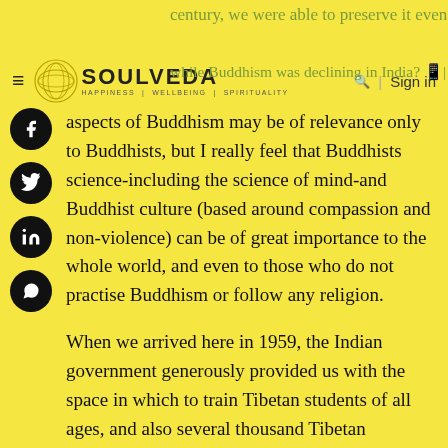century, we were able to preserve it even while Buddhism was declining in India? The religious aspects of Buddhism may be of relevance — SOULVEDA | HAPPINESS | WELLBEING | SPIRITUALITY | Sign in
aspects of Buddhism may be of relevance only to Buddhists, but I really feel that Buddhists science-including the science of mind-and Buddhist culture (based around compassion and non-violence) can be of great importance to the whole world, and even to those who do not practise Buddhism or follow any religion.
When we arrived here in 1959, the Indian government generously provided us with the space in which to train Tibetan students of all ages, and also several thousand Tibetan